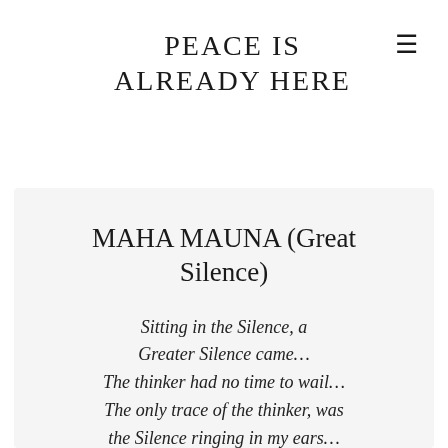PEACE IS ALREADY HERE
MAHA MAUNA (Great Silence)
Sitting in the Silence, a Greater Silence came… The thinker had no time to wail… The only trace of the thinker, was the Silence ringing in my ears…